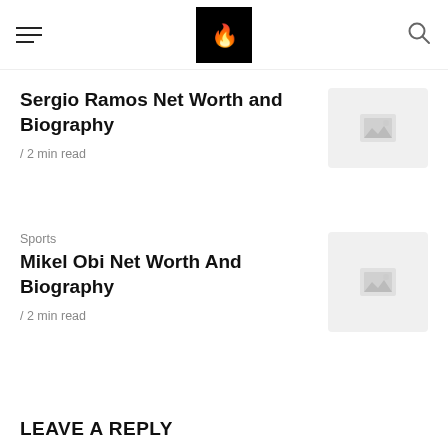Navigation header with hamburger menu, logo, and search icon
Sergio Ramos Net Worth and Biography
/ 2 min read
Sports
Mikel Obi Net Worth And Biography
/ 2 min read
LEAVE A REPLY